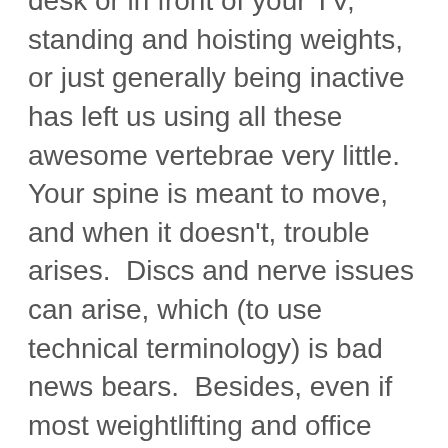desk or in front of your TV, standing and hoisting weights, or just generally being inactive has left us using all these awesome vertebrae very little.  Your spine is meant to move, and when it doesn't, trouble arises.  Discs and nerve issues can arise, which (to use technical terminology) is bad news bears.  Besides, even if most weightlifting and office work related activities don't require twisting, most sorts of athletic movement do, and most importantly, your spine's health does, too.  Rolling is the perfect introduction (and reintroduction) to this necessary movement.